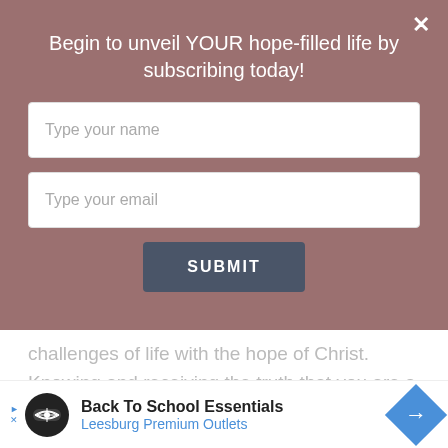Begin to unveil YOUR hope-filled life by subscribing today!
Type your name
Type your email
SUBMIT
challenges of life with the hope of Christ. Knowing and receiving the truth that you are a child of God changes everything!
Full Name
Back To School Essentials
Leesburg Premium Outlets